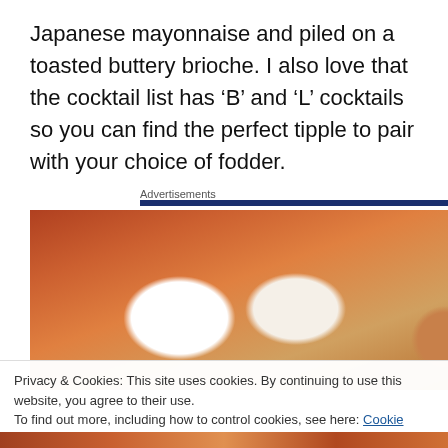Japanese mayonnaise and piled on a toasted buttery brioche. I also love that the cocktail list has ‘B’ and ‘L’ cocktails so you can find the perfect tipple to pair with your choice of fodder.
Advertisements
[Figure (photo): Photo of a breakfast spread showing a bowl with egg and foods, a boiled egg in foreground, chips/fries in a white bowl, and a red drink in a glass]
Privacy & Cookies: This site uses cookies. By continuing to use this website, you agree to their use.
To find out more, including how to control cookies, see here: Cookie Policy
[Figure (photo): Partial photo of colorful food at bottom of page]